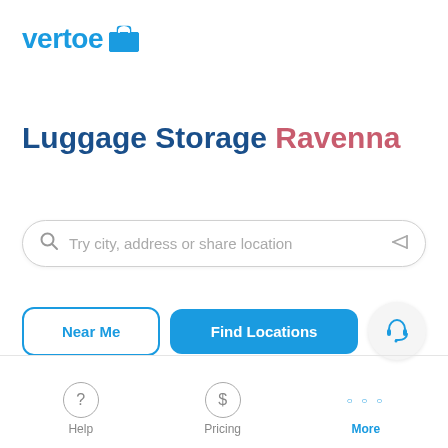[Figure (logo): Vertoe logo: blue text 'vertoe' with a blue briefcase/suitcase icon to the right]
Luggage Storage Ravenna
[Figure (other): Search bar with magnifying glass icon, placeholder text 'Try city, address or share location', and location arrow icon on the right]
[Figure (other): Two buttons: 'Near Me' (outlined blue) and 'Find Locations' (solid blue), plus a circular support/headset button]
Help   Pricing   More